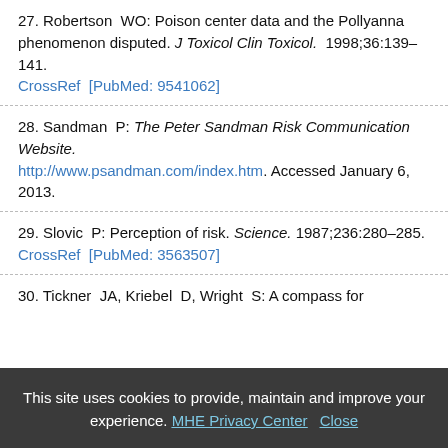27. Robertson WO: Poison center data and the Pollyanna phenomenon disputed. J Toxicol Clin Toxicol. 1998;36:139–141. CrossRef [PubMed: 9541062]
28. Sandman P: The Peter Sandman Risk Communication Website. http://www.psandman.com/index.htm. Accessed January 6, 2013.
29. Slovic P: Perception of risk. Science. 1987;236:280–285. CrossRef [PubMed: 3563507]
30. Tickner JA, Kriebel D, Wright S: A compass for
This site uses cookies to provide, maintain and improve your experience. MHE Privacy Center Close